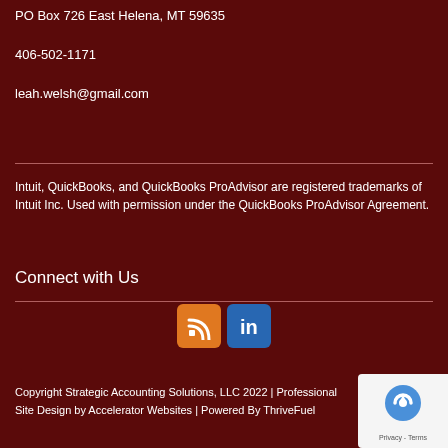PO Box 726 East Helena, MT 59635
406-502-1171
leah.welsh@gmail.com
Intuit, QuickBooks, and QuickBooks ProAdvisor are registered trademarks of Intuit Inc. Used with permission under the QuickBooks ProAdvisor Agreement.
Connect with Us
[Figure (logo): RSS feed icon (orange square with white RSS symbol) and LinkedIn icon (blue square with white 'in' text)]
Copyright Strategic Accounting Solutions, LLC 2022 | Professional Site Design by Accelerator Websites | Powered By ThriveFuel